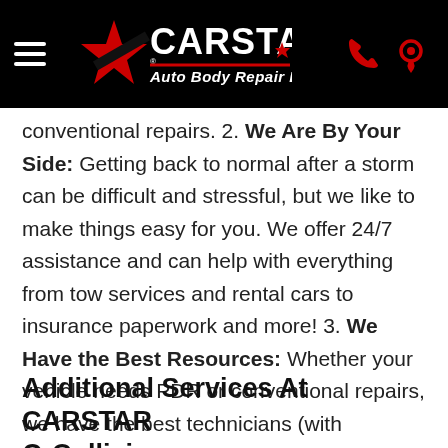CARSTAR Auto Body Repair Experts
conventional repairs. 2. We Are By Your Side: Getting back to normal after a storm can be difficult and stressful, but we like to make things easy for you. We offer 24/7 assistance and can help with everything from tow services and rental cars to insurance paperwork and more! 3. We Have the Best Resources: Whether your vehicle needs PDR or conventional repairs, we have the best technicians (with experience in both methods) and we use state-of-the-art equipment to ensure the quality of our repairs.
Additional Services At CARSTAR Q-Collision